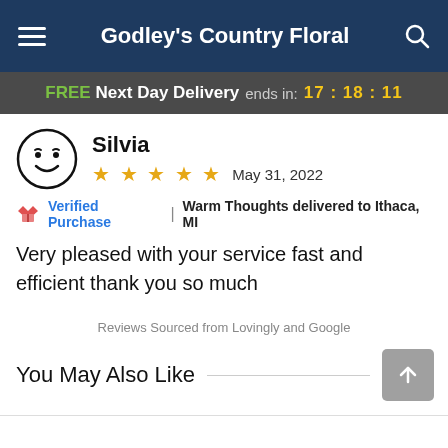Godley's Country Floral
FREE Next Day Delivery ends in: 17:18:11
Silvia
★★★★★  May 31, 2022
Verified Purchase | Warm Thoughts delivered to Ithaca, MI
Very pleased with your service fast and efficient thank you so much
Reviews Sourced from Lovingly and Google
You May Also Like
Start Order